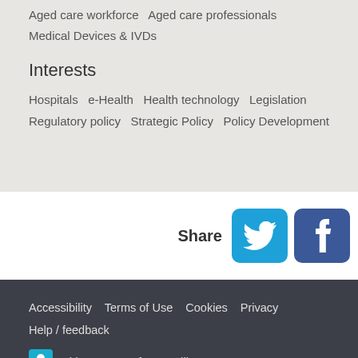Aged care workforce   Aged care professionals   Medical Devices & IVDs
Interests
Hospitals   e-Health   Health technology   Legislation   Regulatory policy   Strategic Policy   Policy Development
Share
Accessibility   Terms of Use   Cookies   Privacy   Help / feedback   Citizen Space from Delib